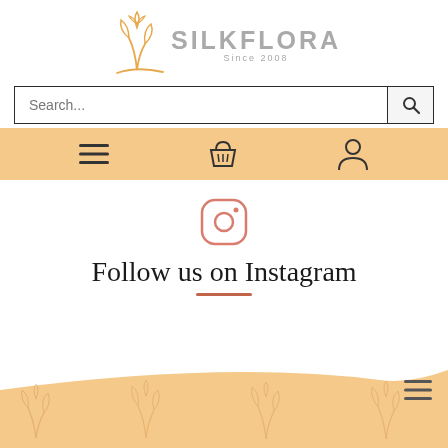[Figure (logo): Silkflora logo with orange plant/leaf illustration, text SILKFLORA in gray, and Since 2008 subtitle]
[Figure (screenshot): Search bar with Search... placeholder and magnifying glass button]
[Figure (screenshot): Navigation bar with hamburger menu, basket, and user profile icons on orange background]
[Figure (screenshot): Instagram icon (camera outline in orange)]
Follow us on Instagram
[Figure (screenshot): Footer with peach/orange background, decorative flower outlines, and hamburger menu icon]